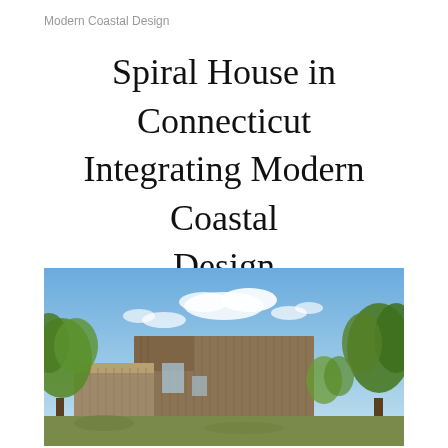Modern Coastal Design
Spiral House in Connecticut Integrating Modern Coastal Design
[Figure (photo): Exterior photograph of the Spiral House in Connecticut, showing a modern wooden-clad building with vertical timber cladding, set against a blue sky with clouds, surrounded by trees including leafy green trees on the left and right sides. The building has a geometric, box-like form with a cantilevered section.]